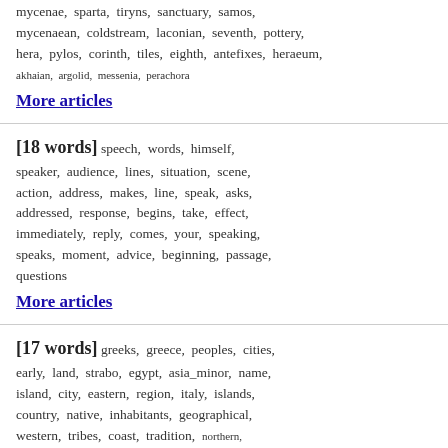mycenae, sparta, tiryns, sanctuary, samos, mycenaean, coldstream, laconian, seventh, pottery, hera, pylos, corinth, tiles, eighth, antefixes, heraeum, akhaian, argolid, messenia, perachora
More articles
[18 words] speech, words, himself, speaker, audience, lines, situation, scene, action, address, makes, line, speak, asks, addressed, response, begins, take, effect, immediately, reply, comes, your, speaking, speaks, moment, advice, beginning, passage, questions
More articles
[17 words] greeks, greece, peoples, cities, early, land, strabo, egypt, asia_minor, name, island, city, eastern, region, italy, islands, country, native, inhabitants, geographical, western, tribes, coast, tradition, northern, mediterranean, asia, civilization, romans, population
More articles
[16 words] himself, young, ever, whom,